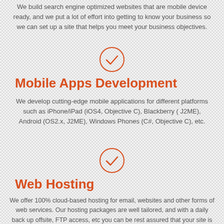We build search engine optimized websites that are mobile device ready, and we put a lot of effort into getting to know your business so we can set up a site that helps you meet your business objectives.
[Figure (illustration): Orange circle with a checkmark inside]
Mobile Apps Development
We develop cutting-edge mobile applications for different platforms such as iPhone/iPad (iOS4, Objective C), Blackberry ( J2ME), Android (OS2.x, J2ME), Windows Phones (C#, Objective C), etc.
[Figure (illustration): Orange circle with a checkmark inside]
Web Hosting
We offer 100% cloud-based hosting for email, websites and other forms of web services. Our hosting packages are well tailored, and with a daily back up offsite, FTP access, etc you can be rest assured that your site is safely managed and hosted by us.